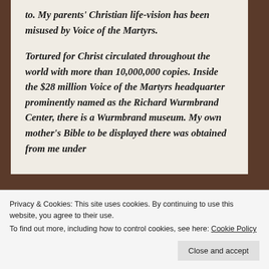to. My parents' Christian life-vision has been misused by Voice of the Martyrs.

Tortured for Christ circulated throughout the world with more than 10,000,000 copies. Inside the $28 million Voice of the Martyrs headquarter prominently named as the Richard Wurmbrand Center, there is a Wurmbrand museum. My own mother's Bible to be displayed there was obtained from me under
Privacy & Cookies: This site uses cookies. By continuing to use this website, you agree to their use.
To find out more, including how to control cookies, see here: Cookie Policy
Close and accept